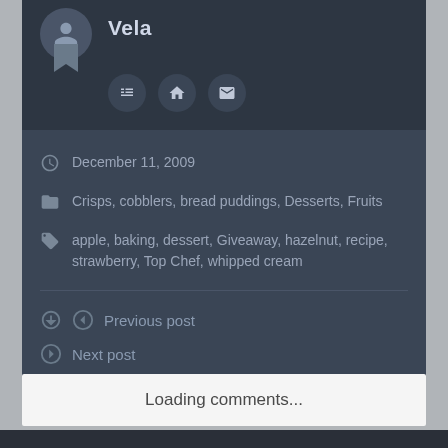Vela
December 11, 2009
Crisps, cobblers, bread puddings, Desserts, Fruits
apple, baking, dessert, Giveaway, hazelnut, recipe, strawberry, Top Chef, whipped cream
Previous post
Next post
Print This Post
Loading comments...